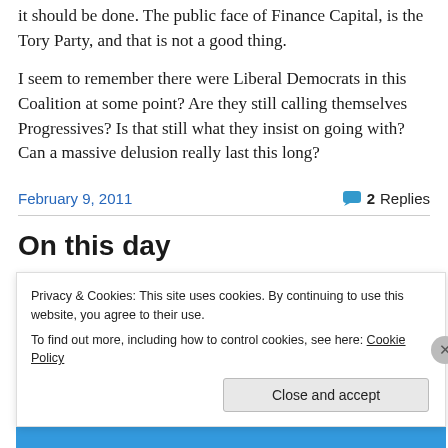it should be done. The public face of Finance Capital, is the Tory Party, and that is not a good thing.
I seem to remember there were Liberal Democrats in this Coalition at some point? Are they still calling themselves Progressives? Is that still what they insist on going with? Can a massive delusion really last this long?
February 9, 2011
2 Replies
On this day
Privacy & Cookies: This site uses cookies. By continuing to use this website, you agree to their use.
To find out more, including how to control cookies, see here: Cookie Policy